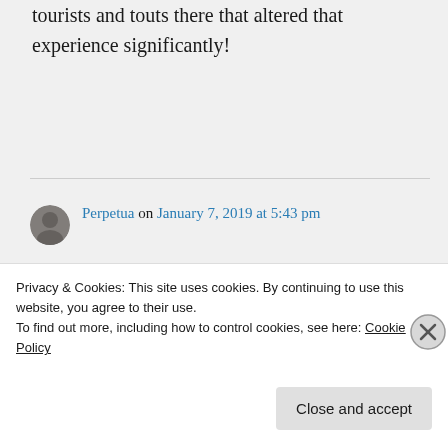tourists and touts there that altered that experience significantly!
Perpetua on January 7, 2019 at 5:43 pm
I love India.
Privacy & Cookies: This site uses cookies. By continuing to use this website, you agree to their use.
To find out more, including how to control cookies, see here: Cookie Policy
Close and accept